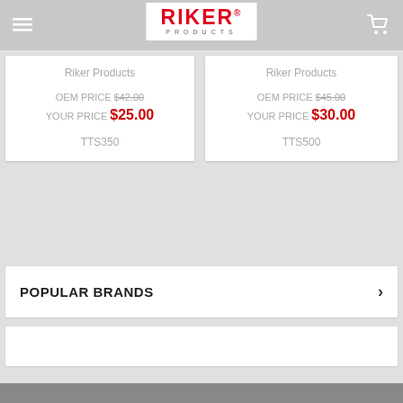[Figure (logo): Riker Products logo with red bold text and 'PRODUCTS' subtitle]
Riker Products
OEM PRICE $42.00
YOUR PRICE $25.00
TTS350
Riker Products
OEM PRICE $45.00
YOUR PRICE $30.00
TTS500
POPULAR BRANDS